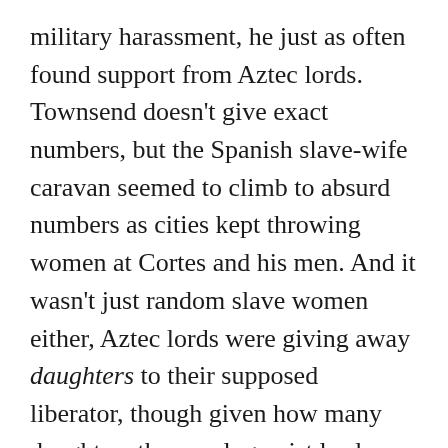military harassment, he just as often found support from Aztec lords. Townsend doesn't give exact numbers, but the Spanish slave-wife caravan seemed to climb to absurd numbers as cities kept throwing women at Cortes and his men. And it wasn't just random slave women either, Aztec lords were giving away daughters to their supposed liberator, though given how many daughters these polygamist lords had, I guess that wasn't too big of a deal.
Cortes found a game-changing ally when he reached the lands of Tlaxcala consisting of 200 cities and towns in a loose confederacy (approximately a dukedom). The Tlaxcalan